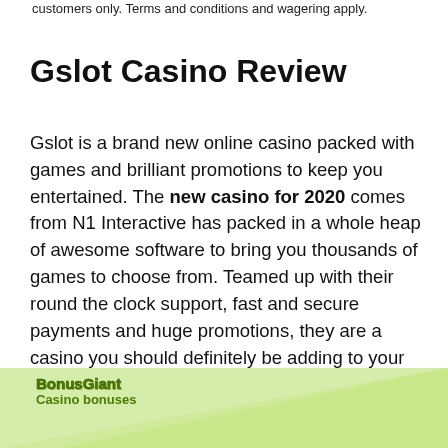customers only. Terms and conditions and wagering apply.
Gslot Casino Review
Gslot is a brand new online casino packed with games and brilliant promotions to keep you entertained. The new casino for 2020 comes from N1 Interactive has packed in a whole heap of awesome software to bring you thousands of games to choose from. Teamed up with their round the clock support, fast and secure payments and huge promotions, they are a casino you should definitely be adding to your to-do list!
[Figure (logo): BonusGiant Casino bonuses logo on a light green triangular background]